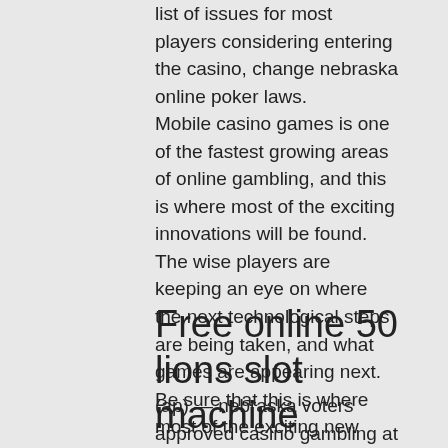list of issues for most players considering entering the casino, change nebraska online poker laws. Mobile casino games is one of the fastest growing areas of online gambling, and this is where most of the exciting innovations will be found. The wise players are keeping an eye on where the next technological steps are being taken, and what games are appearing next. Be sure that this is where most of the exciting new games will be appearing. Play Free Mobile Casino Games and Win Real Cash, change nebraska online poker laws. Are you looking to find out more about free mobile casino games?
Free online 50 lions slot machine
(ap) — nebraska voters approved casino gambling at the state's horse racing tracks last year, but it will still be at least. Voters in